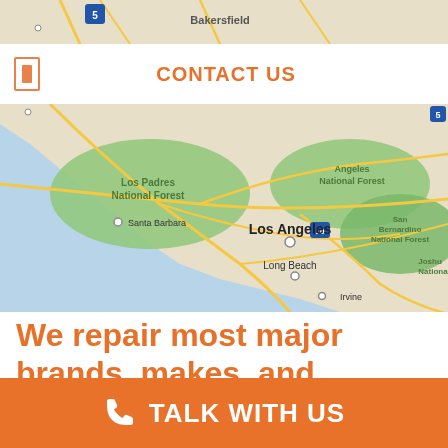[Figure (map): Top strip of a Google Maps view showing California region near Bakersfield label]
CONTACT US
[Figure (map): Google Maps view of Southern California showing Los Padres National Forest, Santa Barbara, Angeles National Forest, Los Angeles, Long Beach, Irvine, San Bernardino National Forest, Joshua National area]
We repair most major brands, makes, and models.
TALK WITH US